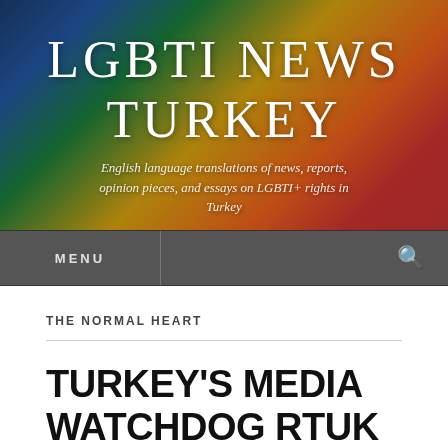[Figure (illustration): Rainbow pride flag banner with overlaid text reading 'LGBTI NEWS TURKEY' and subtitle about English language translations of LGBTI+ rights news in Turkey]
MENU
THE NORMAL HEART
TURKEY'S MEDIA WATCHDOG RTUK FINES